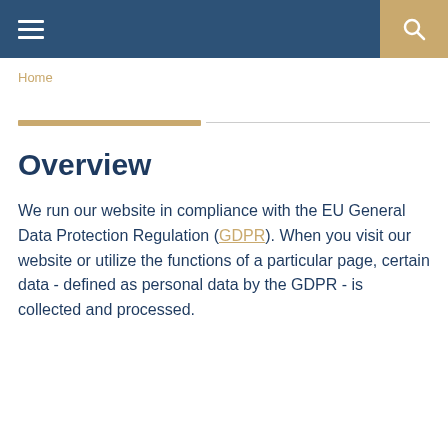Navigation header with hamburger menu and search icon
Home
Overview
We run our website in compliance with the EU General Data Protection Regulation (GDPR). When you visit our website or utilize the functions of a particular page, certain data - defined as personal data by the GDPR - is collected and processed.